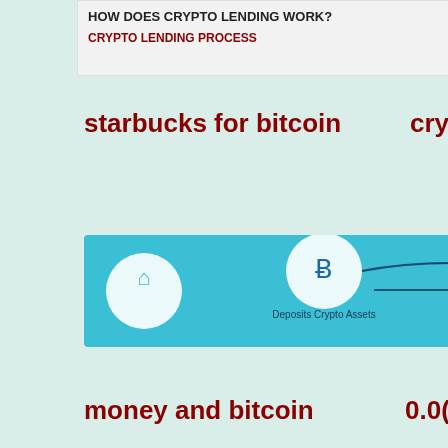[Figure (screenshot): Banner showing 'HOW DOES CRYPTO LENDING WORK?' with subtitle 'CRYPTO LENDING PROCESS' and availability text on the right]
starbucks for bitcoin
cry
[Figure (infographic): Crypto lending process diagram showing icons: Deposit Crypto Assets, Deposits Fiat Currency, with arrows and circular icons on a teal background]
money and bitcoin
0.00
[Figure (logo): BlockchainFirm logo - gold pyramid icon with BLOCKCHAINFIRM text in green, overlaid with large white 'cryptocurr' text on dark green background]
To quickly compare the real-time price of the leading cryptocurrency on exchanges such as Binance
calculate the future value of bitcoins to dollars
current ethereum